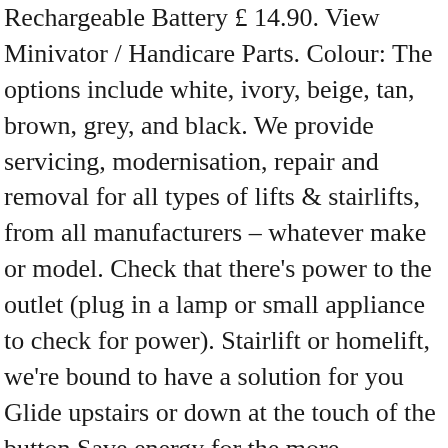Rechargeable Battery £ 14.90. View Minivator / Handicare Parts. Colour: The options include white, ivory, beige, tan, brown, grey, and black. We provide servicing, modernisation, repair and removal for all types of lifts & stairlifts, from all manufacturers – whatever make or model. Check that there's power to the outlet (plug in a lamp or small appliance to check for power). Stairlift or homelift, we're bound to have a solution for you Glide upstairs or down at the touch of the button Save energy for the more pleasurable things in life – keep on being you! We accept payments through online payment systems, credit cards and bank transfers. It should only be used to move the stairlift short distance. Key features 1. Free postage. or Best Offer. Buy stairlift parts or lift spares online at Stairlift Spares. Stairlift Parts / Stannah Stairlifts; Stannah